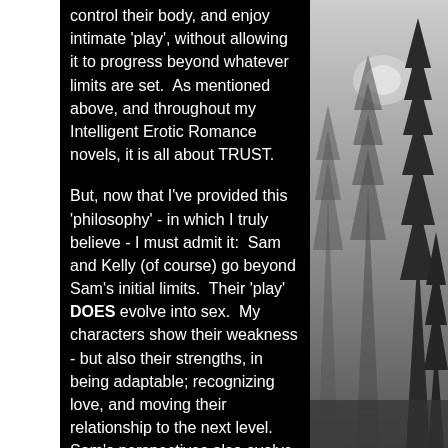control their body, and enjoy intimate 'play', without allowing it to progress beyond whatever limits are set. As mentioned above, and throughout my Intelligent Erotic Romance novels, it is all about TRUST.

But, now that I've provided this 'philosophy' - in which I truly believe - I must admit it: Sam and Kelly (of course) go beyond Sam's initial limits. Their 'play' DOES evolve into sex. My characters show their weakness - but also their strengths, in being adaptable; recognizing love, and moving their relationship to the next level. Sam's perspectives also evolve, leading to his openness to sexual experiences with Kelly together with her friends. After
[Figure (photo): Black and white misty forest scene with tall conifer trees on the right side of the page, fog and sky in background]